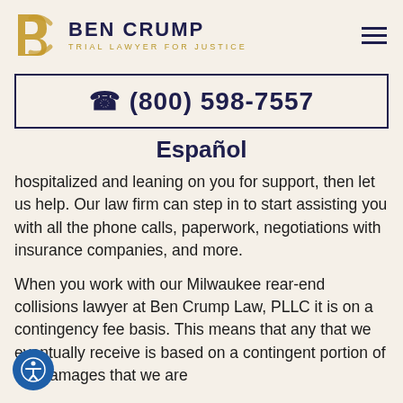[Figure (logo): Ben Crump Trial Lawyer For Justice logo with BC monogram in gold and firm name in navy]
☎ (800) 598-7557
Español
hospitalized and leaning on you for support, then let us help. Our law firm can step in to start assisting you with all the phone calls, paperwork, negotiations with insurance companies, and more.
When you work with our Milwaukee rear-end collisions lawyer at Ben Crump Law, PLLC it is on a contingency fee basis. This means that any that we eventually receive is based on a contingent portion of the damages that we are